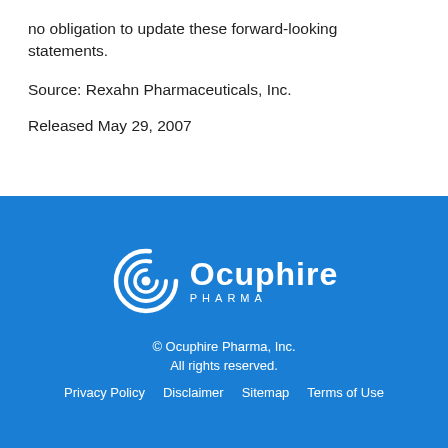no obligation to update these forward-looking statements.
Source: Rexahn Pharmaceuticals, Inc.
Released May 29, 2007
[Figure (logo): Ocuphire Pharma logo: spiral circle icon followed by 'Ocuphire' in large white bold text and 'PHARMA' in small spaced white letters below]
© Ocuphire Pharma, Inc. All rights reserved. Privacy Policy  Disclaimer  Sitemap  Terms of Use